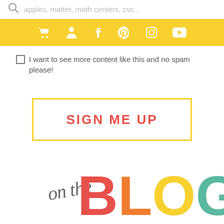apples, matter, math centers, cvc...
[Figure (infographic): Yellow navigation bar with white icons: shopping cart, user/person, Facebook f, Pinterest, Instagram, YouTube]
I want to see more content like this and no spam please!
[Figure (infographic): SIGN ME UP button with yellow border and red text]
[Figure (logo): on the BLOG logo with script 'on the' text in gray and large colorful BLOG letters: B in red, L in orange, O in yellow, G in teal]